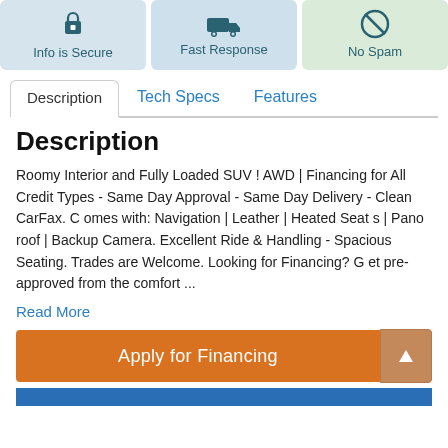[Figure (infographic): Three icon boxes: Info is Secure (lock icon, blue background), Fast Response (delivery truck icon, blue background), No Spam (no-sign icon, green background)]
Description | Tech Specs | Features (tab navigation)
Description
Roomy Interior and Fully Loaded SUV ! AWD | Financing for All Credit Types - Same Day Approval - Same Day Delivery - Clean CarFax. C omes with: Navigation | Leather | Heated Seat s | Pano roof | Backup Camera. Excellent Ride & Handling - Spacious Seating. Trades are Welcome. Looking for Financing? G et pre-approved from the comfort ...
Read More
Apply for Financing